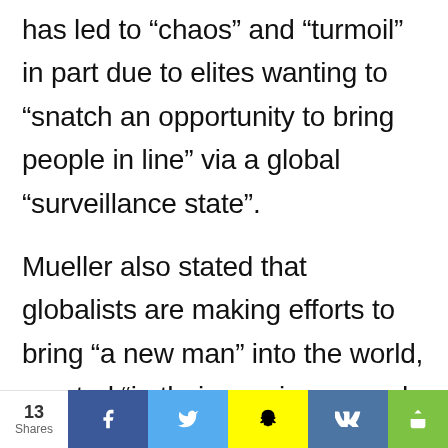has led to “chaos” and “turmoil” in part due to elites wanting to “snatch an opportunity to bring people in line” via a global “surveillance state”.
Mueller also stated that globalists are making efforts to bring “a new man” into the world, created “in their own image and likeness,” warning “That has nothing to do with democracy.”
13 Shares | f | Twitter | Snapchat | VK | Share